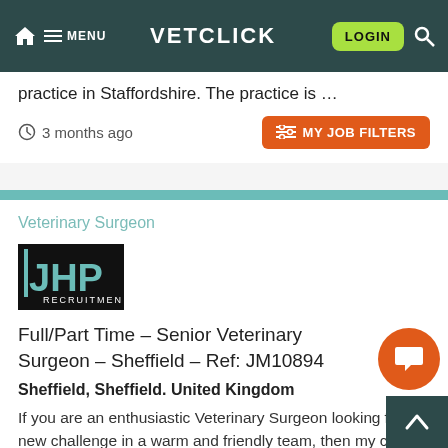VETCLICK — navigation bar with HOME, MENU, LOGIN, SEARCH
practice in Staffordshire. The practice is …
3 months ago
Veterinary Surgeon
[Figure (logo): JHP Recruitment logo — white text on black background]
Full/Part Time – Senior Veterinary Surgeon – Sheffield – Ref: JM10894
Sheffield, Sheffield. United Kingdom
If you are an enthusiastic Veterinary Surgeon looking for a new challenge in a warm and friendly team, then my client would love to hear fr…